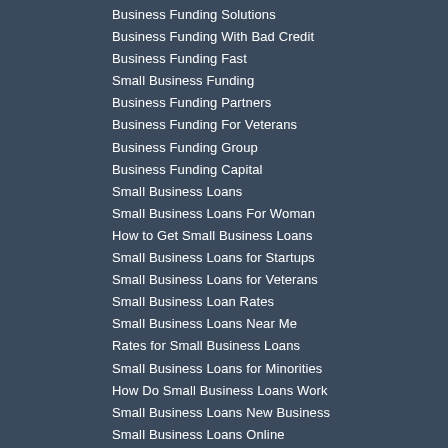Business Funding Solutions
Business Funding With Bad Credit
Business Funding Fast
Small Business Funding
Business Funding Partners
Business Funding For Veterans
Business Funding Group
Business Funding Capital
Small Business Loans
Small Business Loans For Woman
How to Get Small Business Loans
Small Business Loans for Startups
Small Business Loans for Veterans
Small Business Loan Rates
Small Business Loans Near Me
Rates for Small Business Loans
Small Business Loans for Minorities
How Do Small Business Loans Work
Small Business Loans New Business
Small Business Loans Online